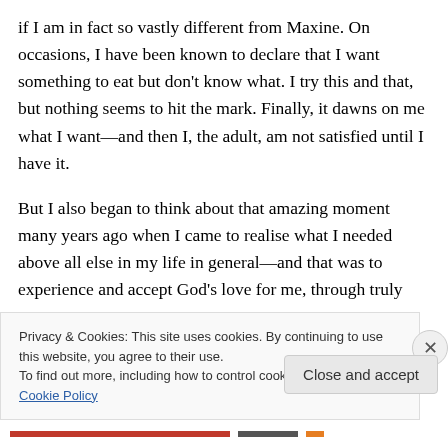if I am in fact so vastly different from Maxine. On occasions, I have been known to declare that I want something to eat but don't know what. I try this and that, but nothing seems to hit the mark. Finally, it dawns on me what I want—and then I, the adult, am not satisfied until I have it.
But I also began to think about that amazing moment many years ago when I came to realise what I needed above all else in my life in general—and that was to experience and accept God's love for me, through truly
Privacy & Cookies: This site uses cookies. By continuing to use this website, you agree to their use.
To find out more, including how to control cookies, see here: Cookie Policy
Close and accept